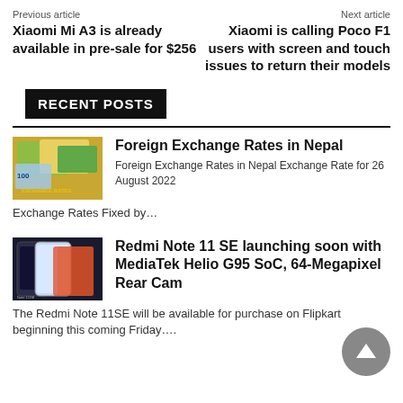Previous article | Next article
Xiaomi Mi A3 is already available in pre-sale for $256
Xiaomi is calling Poco F1 users with screen and touch issues to return their models
RECENT POSTS
[Figure (photo): Foreign exchange currency notes photo thumbnail]
Foreign Exchange Rates in Nepal
Foreign Exchange Rates in Nepal Exchange Rate for 26 August 2022 Exchange Rates Fixed by…
[Figure (photo): Redmi Note 11 SE smartphone product photo thumbnail]
Redmi Note 11 SE launching soon with MediaTek Helio G95 SoC, 64-Megapixel Rear Camera
The Redmi Note 11SE will be available for purchase on Flipkart beginning this coming Friday….